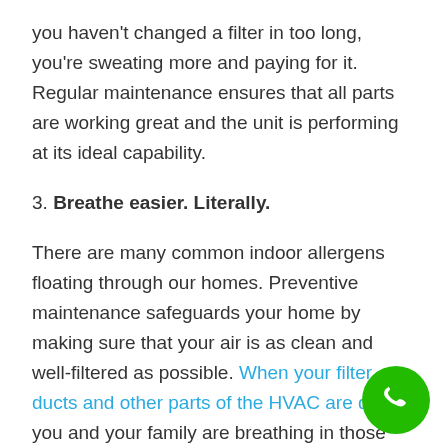you haven't changed a filter in too long, you're sweating more and paying for it. Regular maintenance ensures that all parts are working great and the unit is performing at its ideal capability.
3. Breathe easier. Literally.
There are many common indoor allergens floating through our homes. Preventive maintenance safeguards your home by making sure that your air is as clean and well-filtered as possible. When your filter, ducts and other parts of the HVAC are dirty, you and your family are breathing in those particles. This is especially concerning if you have any family members with